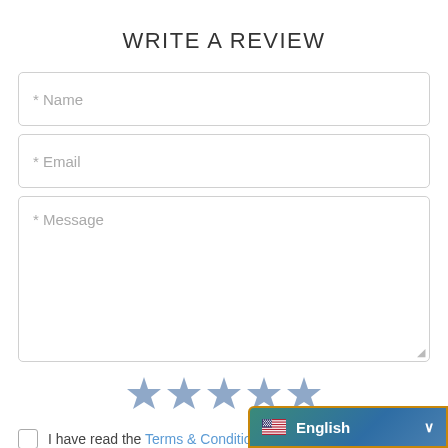WRITE A REVIEW
* Name
* Email
* Message
[Figure (other): Five star rating icons in steel blue color]
I have read the Terms & Conditions
[Figure (other): Language selector bar showing US flag and English with dropdown chevron, orange border, teal-blue gradient background]